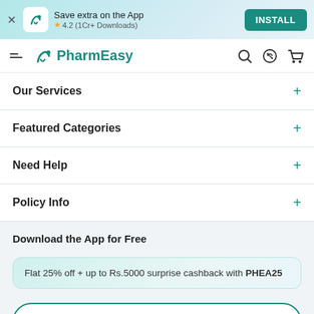[Figure (screenshot): App install banner with PharmEasy icon, text 'Save extra on the App', star rating 4.2 (1Cr+ Downloads), and INSTALL button]
[Figure (screenshot): PharmEasy navigation bar with hamburger menu, logo, search, discount, and cart icons]
Our Services +
Featured Categories +
Need Help +
Policy Info +
Download the App for Free
Flat 25% off + up to Rs.5000 surprise cashback with PHEA25
Notify Me